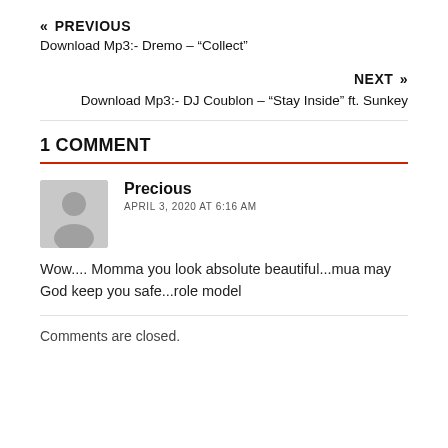« PREVIOUS
Download Mp3:- Dremo – “Collect”
NEXT »
Download Mp3:- DJ Coublon – “Stay Inside” ft. Sunkey
1 COMMENT
Precious
APRIL 3, 2020 AT 6:16 AM
Wow.... Momma you look absolute beautiful...mua may God keep you safe...role model
Comments are closed.